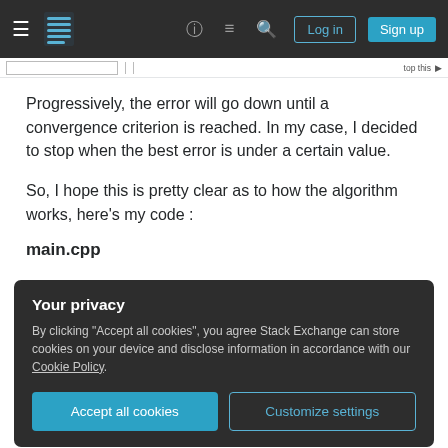Stack Exchange navigation bar with hamburger menu, logo, help, chat, search icons, Log in and Sign up buttons
Progressively, the error will go down until a convergence criterion is reached. In my case, I decided to stop when the best error is under a certain value.
So, I hope this is pretty clear as to how the algorithm works, here's my code :
main.cpp
Your privacy
By clicking "Accept all cookies", you agree Stack Exchange can store cookies on your device and disclose information in accordance with our Cookie Policy.
Accept all cookies   Customize settings
{